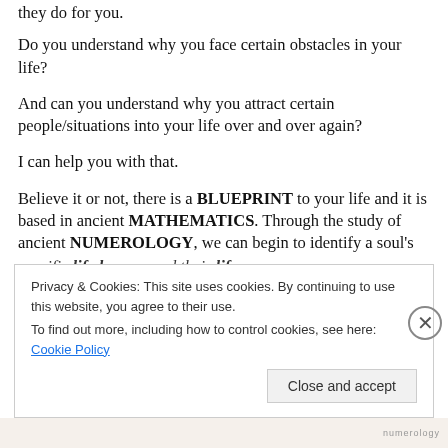they do for you.
Do you understand why you face certain obstacles in your life?
And can you understand why you attract certain people/situations into your life over and over again?
I can help you with that.
Believe it or not, there is a BLUEPRINT to your life and it is based in ancient MATHEMATICS. Through the study of ancient NUMEROLOGY, we can begin to identify a soul's specific life lessons and their life purpose.
Privacy & Cookies: This site uses cookies. By continuing to use this website, you agree to their use.
To find out more, including how to control cookies, see here: Cookie Policy
Close and accept